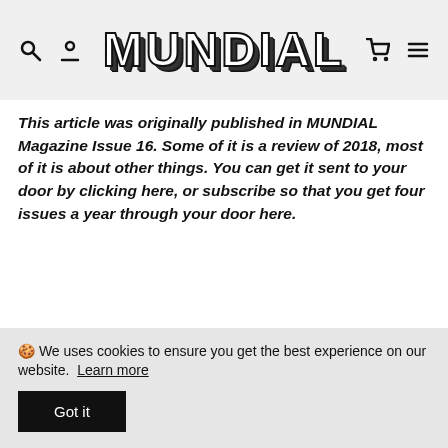MUNDIAL [navigation header with search, user, cart, and menu icons]
This article was originally published in MUNDIAL Magazine Issue 16. Some of it is a review of 2018, most of it is about other things. You can get it sent to your door by clicking here, or subscribe so that you get four issues a year through your door here.
Related products
🍪 We uses cookies to ensure you get the best experience on our website. Learn more
Got it